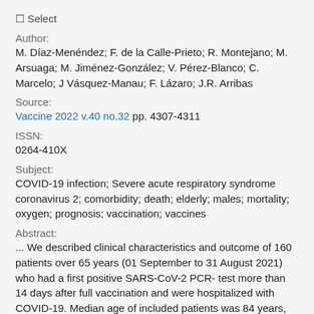☐ Select
Author:
M. Díaz-Menéndez; F. de la Calle-Prieto; R. Montejano; M. Arsuaga; M. Jiménez-González; V. Pérez-Blanco; C. Marcelo; J Vásquez-Manau; F. Lázaro; J.R. Arribas
Source:
Vaccine 2022 v.40 no.32 pp. 4307-4311
ISSN:
0264-410X
Subject:
COVID-19 infection; Severe acute respiratory syndrome coronavirus 2; comorbidity; death; elderly; males; mortality; oxygen; prognosis; vaccination; vaccines
Abstract:
... We described clinical characteristics and outcome of 160 patients over 65 years (01 September to 31 August 2021) who had a first positive SARS-CoV-2 PCR- test more than 14 days after full vaccination and were hospitalized with COVID-19. Median age of included patients was 84 years,